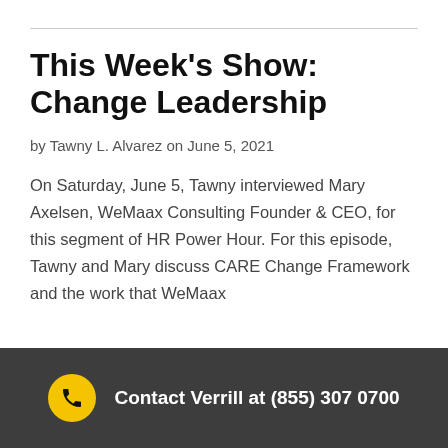This Week's Show: Change Leadership
by Tawny L. Alvarez on June 5, 2021
On Saturday, June 5, Tawny interviewed Mary Axelsen, WeMaax Consulting Founder & CEO, for this segment of HR Power Hour. For this episode, Tawny and Mary discuss CARE Change Framework and the work that WeMaax
Contact Verrill at (855) 307 0700